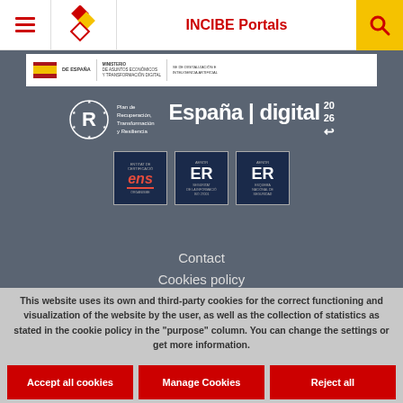INCIBE Portals
[Figure (logo): INCIBE diamond/rhombus logo in red and yellow]
[Figure (logo): Ministry of Economic Affairs and Digital Transformation banner with Spanish flag, Plan de Recuperacion Transformacion y Resiliencia, España digital 2026, and certification badges (ENS, ER)]
Contact
Cookies policy
This website uses its own and third-party cookies for the correct functioning and visualization of the website by the user, as well as the collection of statistics as stated in the cookie policy in the "purpose" column. You can change the settings or get more information.
Accept all cookies
Manage Cookies
Reject all